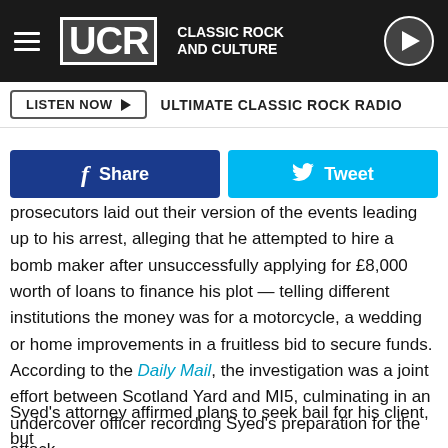UCR Classic Rock and Culture — LISTEN NOW | ULTIMATE CLASSIC ROCK RADIO
[Figure (screenshot): Share and Tweet social media buttons]
prosecutors laid out their version of the events leading up to his arrest, alleging that he attempted to hire a bomb maker after unsuccessfully applying for £8,000 worth of loans to finance his plot — telling different institutions the money was for a motorcycle, a wedding or home improvements in a fruitless bid to secure funds. According to the Daily Mail, the investigation was a joint effort between Scotland Yard and MI5, culminating in an undercover officer recording Syed's preparation for the attack.
Syed's attorney affirmed plans to seek bail for his client, but hasn't yet petitioned for it. In the meantime, Syed will remain